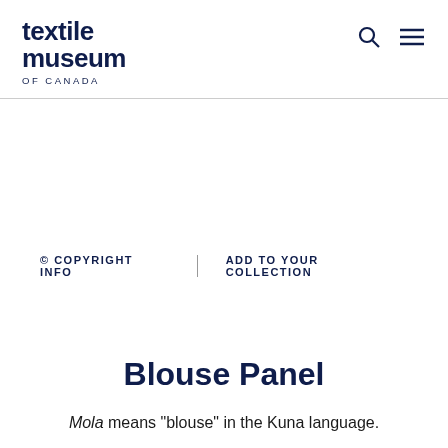textile museum OF CANADA
© COPYRIGHT INFO  |  ADD TO YOUR COLLECTION
Blouse Panel
Mola means "blouse" in the Kuna language.